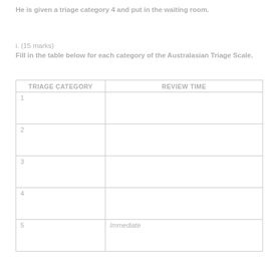He is given a triage category 4 and put in the waiting room.
i. (15 marks)
Fill in the table below for each category of the Australasian Triage Scale.
| TRIAGE CATEGORY | REVIEW TIME |
| --- | --- |
| 1 |  |
| 2 |  |
| 3 |  |
| 4 |  |
| 5 | Immediate |